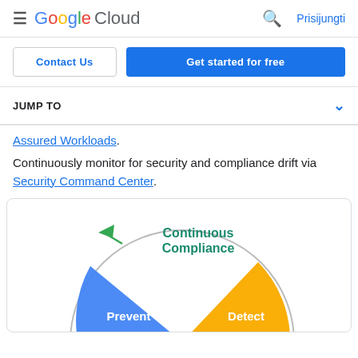Google Cloud — Prisijungti
Contact Us | Get started for free
JUMP TO
Assured Workloads.
Continuously monitor for security and compliance drift via Security Command Center.
[Figure (infographic): Continuous Compliance cycle diagram showing blue 'Prevent' segment and orange/yellow 'Detect' segment in a circular arrow arrangement, with a green arrow pointing toward the cycle at the top left labeled 'Continuous Compliance'.]